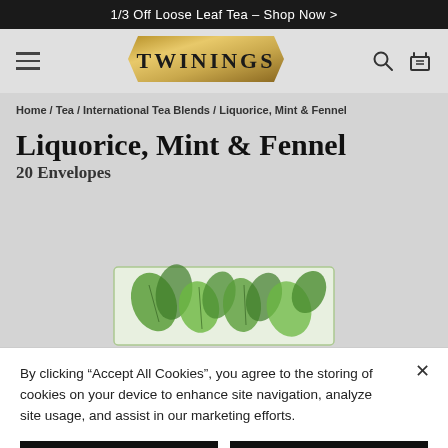1/3 Off Loose Leaf Tea – Shop Now >
[Figure (logo): Twinings brand logo in gold hexagonal banner with bold serif text]
Home / Tea / International Tea Blends / Liquorice, Mint & Fennel
Liquorice, Mint & Fennel
20 Envelopes
[Figure (photo): Partial view of Twinings Liquorice, Mint & Fennel tea box with green botanical design]
By clicking “Accept All Cookies”, you agree to the storing of cookies on your device to enhance site navigation, analyze site usage, and assist in our marketing efforts.
Manage Cookies
Accept All Cookies